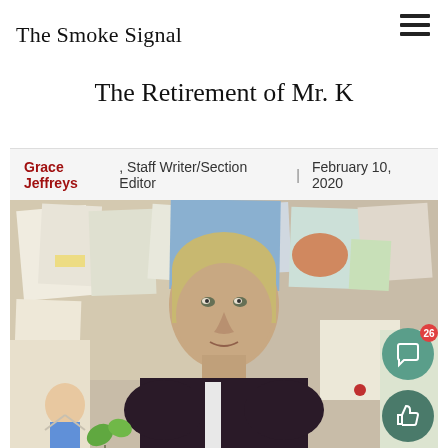The Smoke Signal
The Retirement of Mr. K
Grace Jeffreys, Staff Writer/Section Editor | February 10, 2020
[Figure (photo): Portrait of Mr. K, a middle-aged man with light brown hair wearing a dark maroon and black jacket, seated in front of a corkboard covered with student artwork and papers.]